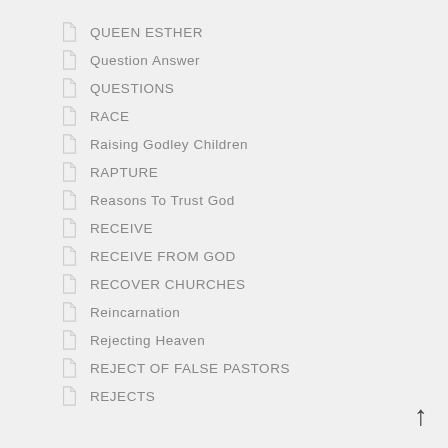QUEEN ESTHER
Question Answer
QUESTIONS
RACE
Raising Godley Children
RAPTURE
Reasons To Trust God
RECEIVE
RECEIVE FROM GOD
RECOVER CHURCHES
Reincarnation
Rejecting Heaven
REJECT OF FALSE PASTORS
REJECTS